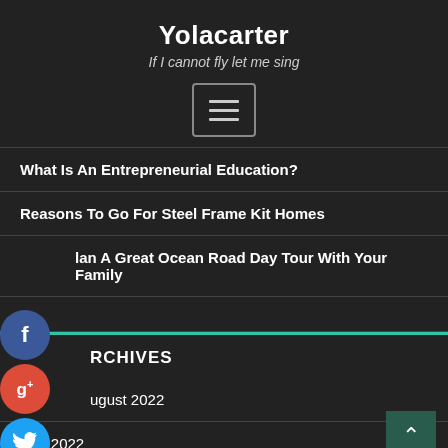Yolacarter
If I cannot fly let me sing
[Figure (other): Hamburger menu button icon with three horizontal lines inside a rounded rectangle border]
What Is An Entrepreneurial Education?
Reasons To Go For Steel Frame Kit Homes
Plan A Great Ocean Road Day Tour With Your Family
ARCHIVES
August 2022
July 2022